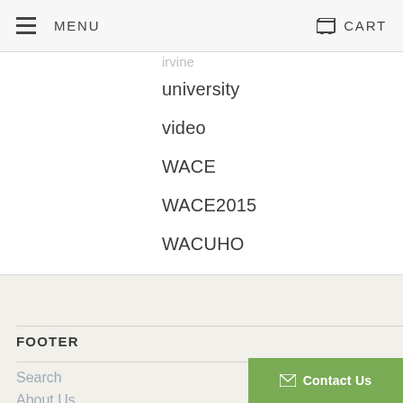MENU  CART
irvine
university
video
WACE
WACE2015
WACUHO
xl bedding
xl mattress
FOOTER
Search
About Us